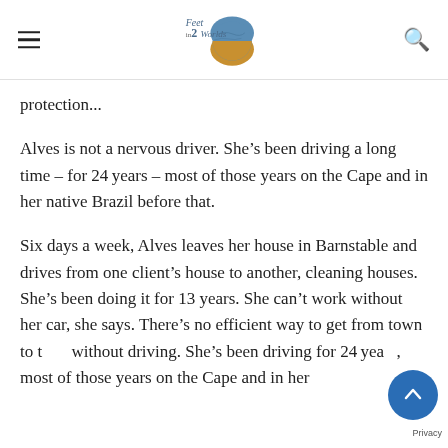Feet in 2 Worlds
protection...
Alves is not a nervous driver. She’s been driving a long time – for 24 years – most of those years on the Cape and in her native Brazil before that.
Six days a week, Alves leaves her house in Barnstable and drives from one client’s house to another, cleaning houses. She’s been doing it for 13 years. She can’t work without her car, she says. There’s no efficient way to get from town to town without driving. She’s been driving for 24 years, most of those years on the Cape and in her